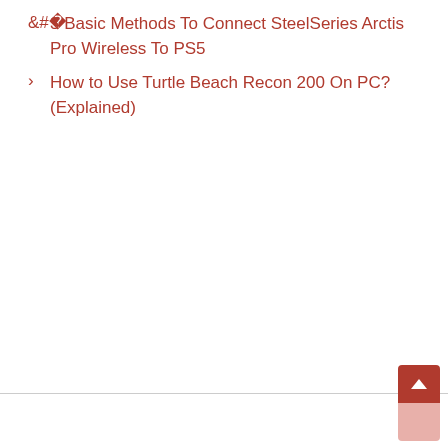< 3 Basic Methods To Connect SteelSeries Arctis Pro Wireless To PS5
> How to Use Turtle Beach Recon 200 On PC? (Explained)